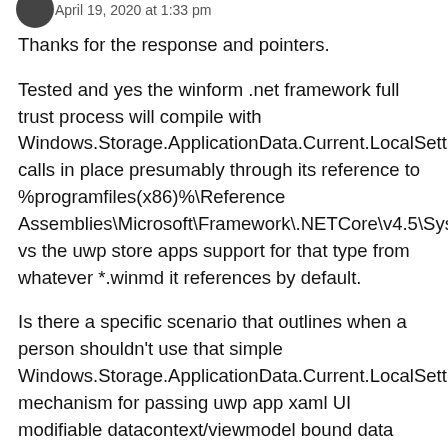April 19, 2020 at 1:33 pm
Thanks for the response and pointers.
Tested and yes the winform .net framework full trust process will compile with Windows.Storage.ApplicationData.Current.LocalSettings calls in place presumably through its reference to %programfiles(x86)%\Reference Assemblies\Microsoft\Framework\.NETCore\v4.5\System.Runtime.WindowsRuntime.dll vs the uwp store apps support for that type from whatever *.winmd it references by default.
Is there a specific scenario that outlines when a person shouldn't use that simple Windows.Storage.ApplicationData.Current.LocalSettings mechanism for passing uwp app xaml UI modifiable datacontext/viewmodel bound data over to the winform